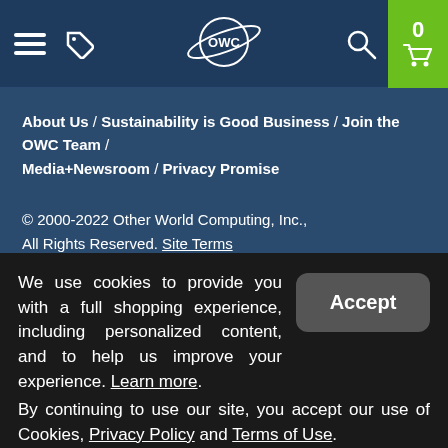OWC navigation bar with hamburger menu, tag icon, OWC logo, search icon, and cart (0)
About Us / Sustainability is Good Business / Join the OWC Team / Media+Newsroom / Privacy Promise
© 2000-2022 Other World Computing, Inc., All Rights Reserved. Site Terms
Guest ID: 106356935 Load Time: 0.001 seconds
We use cookies to provide you with a full shopping experience, including personalized content, and to help us improve your experience. Learn more.
By continuing to use our site, you accept our use of Cookies, Privacy Policy and Terms of Use.